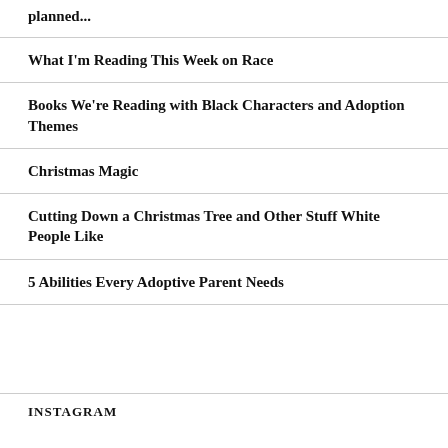planned...
What I'm Reading This Week on Race
Books We're Reading with Black Characters and Adoption Themes
Christmas Magic
Cutting Down a Christmas Tree and Other Stuff White People Like
5 Abilities Every Adoptive Parent Needs
INSTAGRAM